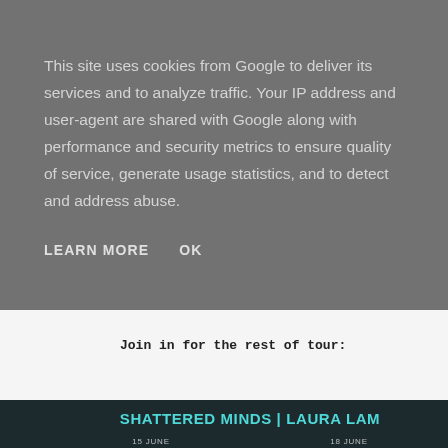This site uses cookies from Google to deliver its services and to analyze traffic. Your IP address and user-agent are shared with Google along with performance and security metrics to ensure quality of service, generate usage statistics, and to detect and address abuse.
LEARN MORE   OK
Join in for the rest of tour:
[Figure (other): Banner image for 'Shattered Minds | Laura Lam' book tour with teal/dark color scheme showing dates 15 June and 18 June]